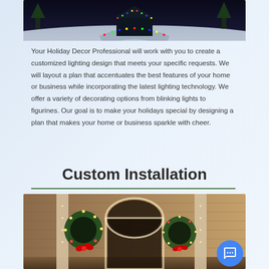[Figure (photo): Aerial view of a house with colorful holiday lights lining the driveway and roofline at night]
Your Holiday Decor Professional will work with you to create a customized lighting design that meets your specific requests. We will layout a plan that accentuates the best features of your home or business while incorporating the latest lighting technology. We offer a variety of decorating options from blinking lights to figurines. Our goal is to make your holidays special by designing a plan that makes your home or business sparkle with cheer.
Custom Installation
[Figure (photo): Decorated entrance of a home with large lit wreaths and a wreath-framed arched doorway at night]